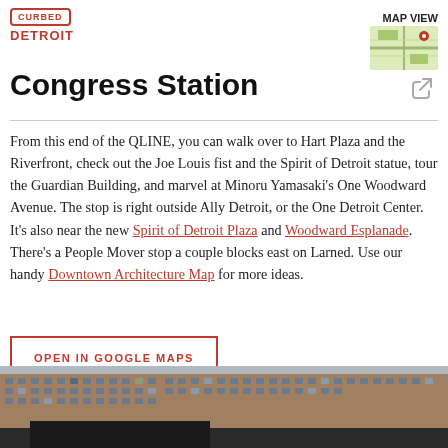CURBED DETROIT — MAP VIEW
Congress Station
From this end of the QLINE, you can walk over to Hart Plaza and the Riverfront, check out the Joe Louis fist and the Spirit of Detroit statue, tour the Guardian Building, and marvel at Minoru Yamasaki's One Woodward Avenue. The stop is right outside Ally Detroit, or the One Detroit Center. It's also near the new Spirit of Detroit Plaza and Woodward Esplanade. There's a People Mover stop a couple blocks east on Larned. Use our handy Downtown Architecture Map for more ideas.
OPEN IN GOOGLE MAPS
511 Woodward Ave, Detroit, MI 48226
[Figure (photo): Exterior photo of a large brick building with many windows, viewed from street level]